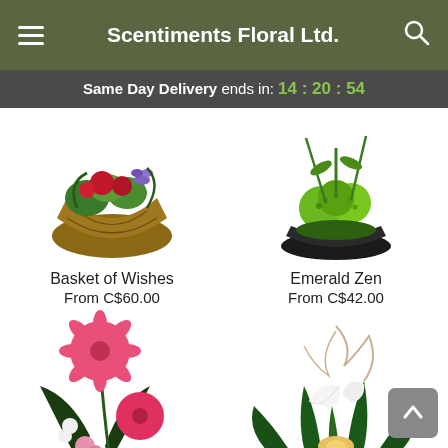Scentiments Floral Ltd.
Same Day Delivery ends in: 14 : 20 : 54
[Figure (photo): Basket of Wishes floral arrangement with red, pink and green flowers in a wicker basket]
Basket of Wishes
From C$60.00
[Figure (photo): Emerald Zen arrangement with green chrysanthemums and tropical greenery in a black bowl]
Emerald Zen
From C$42.00
[Figure (photo): Pink gerbera daisy and carnation tall floral arrangement with dark leaves]
[Figure (photo): Tropical green plant arrangement with white anthurium and curly willow branches]